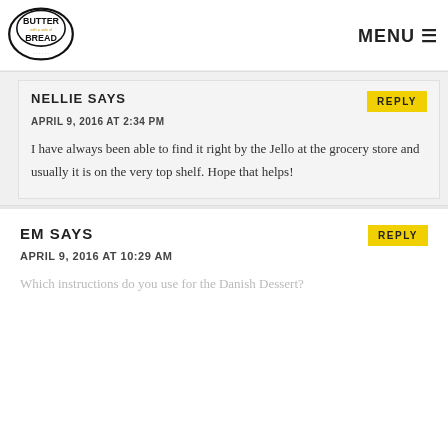BUTTER with a side of BREAD | MENU
NELLIE SAYS
APRIL 9, 2016 AT 2:34 PM
I have always been able to find it right by the Jello at the grocery store and usually it is on the very top shelf. Hope that helps!
EM SAYS
APRIL 9, 2016 AT 10:29 AM
Which instructions do you use for the Danish Dessert?